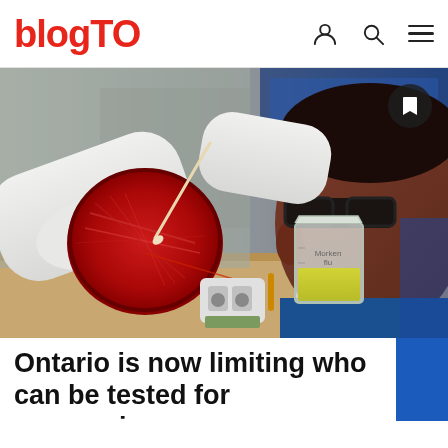blogTO
[Figure (photo): A lab technician wearing white gloves and safety glasses examines a red petri dish with a swab, with lab equipment including a beaker with yellow liquid in the background.]
Ontario is now limiting who can be tested for coronavirus
City